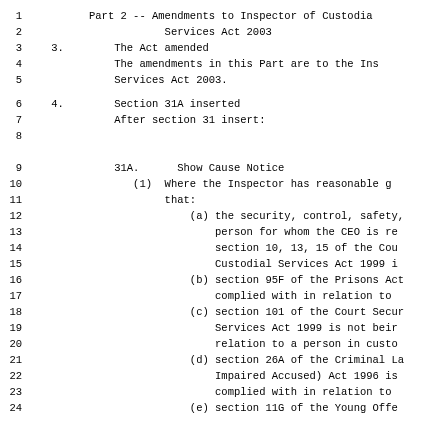1    Part 2 -- Amendments to Inspector of Custodial
2              Services Act 2003
3    3.    The Act amended
4          The amendments in this Part are to the Inspector of Custodial
5          Services Act 2003.
6    4.    Section 31A inserted
7          After section 31 insert:
8
9          31A.    Show Cause Notice
10         (1)  Where the Inspector has reasonable grounds to believe
11              that:
12                  (a) the security, control, safety,
13                      person for whom the CEO is responsible under
14                      section 10, 13, 15 of the Court Security and
15                      Custodial Services Act 1999 is
16                  (b) section 95F of the Prisons Act is not being
17                      complied with in relation to
18                  (c) section 101 of the Court Security and Custodial
19                      Services Act 1999 is not being
20                      relation to a person in custody
21                  (d) section 26A of the Criminal Law (Mentally
22                      Impaired Accused) Act 1996 is not being
23                      complied with in relation to
24              (e) section 11G of the Young Offenders